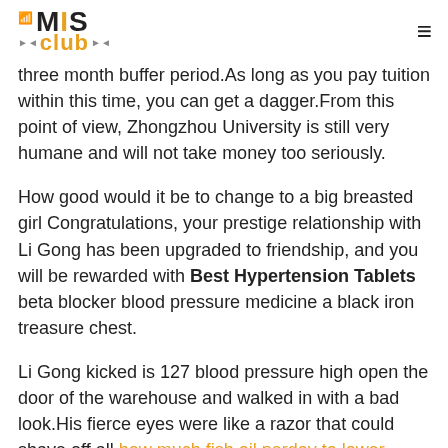MIS Club
three month buffer period.As long as you pay tuition within this time, you can get a dagger.From this point of view, Zhongzhou University is still very humane and will not take money too seriously.
How good would it be to change to a big breasted girl Congratulations, your prestige relationship with Li Gong has been upgraded to friendship, and you will be rewarded with Best Hypertension Tablets beta blocker blood pressure medicine a black iron treasure chest.
Li Gong kicked is 127 blood pressure high open the door of the warehouse and walked in with a bad look.His fierce eyes were like a razor that could shave off all how much fish oil perday to lower blood